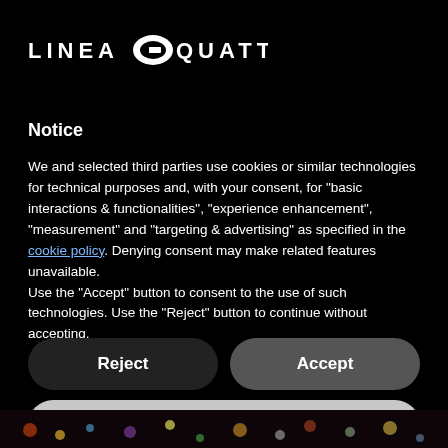[Figure (logo): Linea Quattro logo with stylized G symbol between LINEA and QUATTRO text]
Notice
We and selected third parties use cookies or similar technologies for technical purposes and, with your consent, for “basic interactions & functionalities”, “experience enhancement”, “measurement” and “targeting & advertising” as specified in the cookie policy. Denying consent may make related features unavailable.
Use the “Accept” button to consent to the use of such technologies. Use the “Reject” button to continue without accepting.
Reject
Accept
Learn more and customize